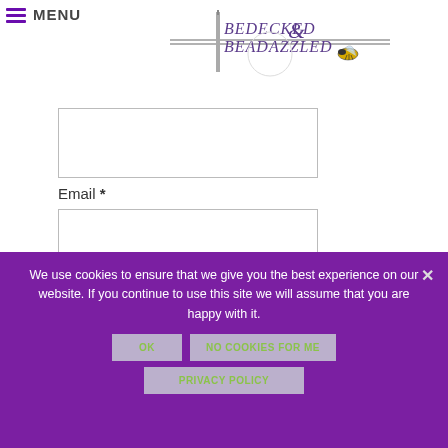[Figure (logo): Bedecked & Beadazzled logo with decorative horizontal line and bee illustration]
[Figure (screenshot): Empty text input field (bordered rectangle)]
Email *
[Figure (screenshot): Empty email input field (bordered rectangle)]
We use cookies to ensure that we give you the best experience on our website. If you continue to use this site we will assume that you are happy with it.
OK
NO COOKIES FOR ME
PRIVACY POLICY